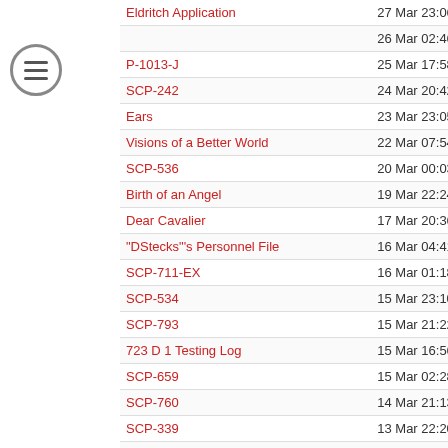| Title | Date | Count |
| --- | --- | --- |
| Eldritch Application | 27 Mar 23:06 | 84 |
|  | 26 Mar 02:46 | 22 |
| P-1013-J | 25 Mar 17:58 | 41 |
| SCP-242 | 24 Mar 20:42 | 64 |
| Ears | 23 Mar 23:05 | 20 |
| Visions of a Better World | 22 Mar 07:54 | 133 |
| SCP-536 | 20 Mar 00:03 | 55 |
| Birth of an Angel | 19 Mar 22:24 | 10 |
| Dear Cavalier | 17 Mar 20:36 | 13 |
| "DStecks"'s Personnel File | 16 Mar 04:41 | 5 |
| SCP-711-EX | 16 Mar 01:18 | 58 |
| SCP-534 | 15 Mar 23:10 | 14 |
| SCP-793 | 15 Mar 21:22 | 42 |
| 723 D 1 Testing Log | 15 Mar 16:56 | 20 |
| SCP-659 | 15 Mar 02:28 | 29 |
| SCP-760 | 14 Mar 21:13 | 37 |
| SCP-339 | 13 Mar 22:20 | 43 |
| SCP-304 | 13 Mar 08:03 | 39 |
| SCP-797 | 12 Mar 20:08 | 35 |
| SCP-890 | 11 Mar 16:29 | 76 |
| SCP-704 | 11 Mar 01:35 | 48 |
| SCP-210 | 10 Mar 03:07 | 40 |
| Research Assistant Cachette's Personnel File | 10 Mar 02:26 | 22 |